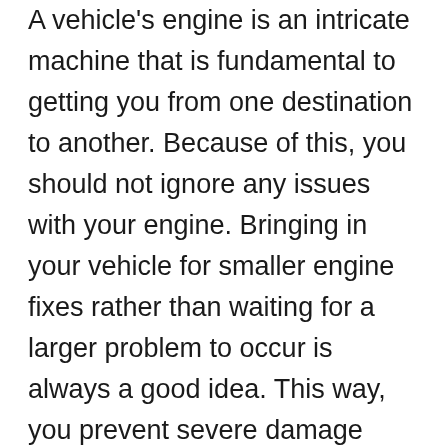A vehicle's engine is an intricate machine that is fundamental to getting you from one destination to another. Because of this, you should not ignore any issues with your engine. Bringing in your vehicle for smaller engine fixes rather than waiting for a larger problem to occur is always a good idea. This way, you prevent severe damage from happening and costing you a lot more. If you are concerned about the health of your engine, you can bring your vehicle to B & L Quality Repair LLC in Bozeman. We specialize in Maintenance, Hybrid repair, as well as engine repair. We can determine if the problem lies in your engine head gasket, exhaust system, catalytic converter, or something else...